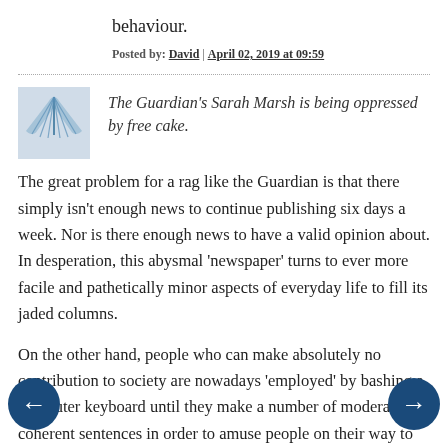behaviour.
Posted by: David | April 02, 2019 at 09:59
[Figure (logo): Guardian swirl logo avatar icon in blue-grey tones]
The Guardian's Sarah Marsh is being oppressed by free cake.
The great problem for a rag like the Guardian is that there simply isn't enough news to continue publishing six days a week. Nor is there enough news to have a valid opinion about. In desperation, this abysmal 'newspaper' turns to ever more facile and pathetically minor aspects of everyday life to fill its jaded columns.
On the other hand, people who can make absolutely no contribution to society are nowadays 'employed' by bashing a computer keyboard until they make a number of moderately coherent sentences in order to amuse people on their way to an office job where they will, er, bash a